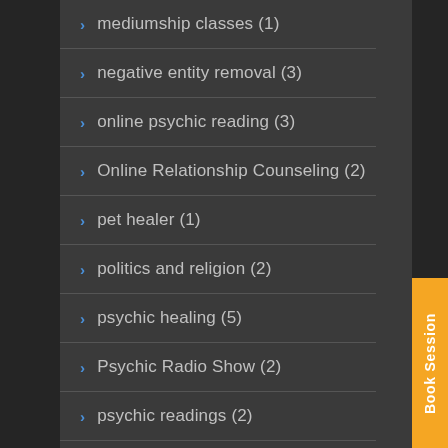mediumship classes (1)
negative entity removal (3)
online psychic reading (3)
Online Relationship Counseling (2)
pet healer (1)
politics and religion (2)
psychic healing (5)
Psychic Radio Show (2)
psychic readings (2)
Psychic Readings (7)
Psychics (1)